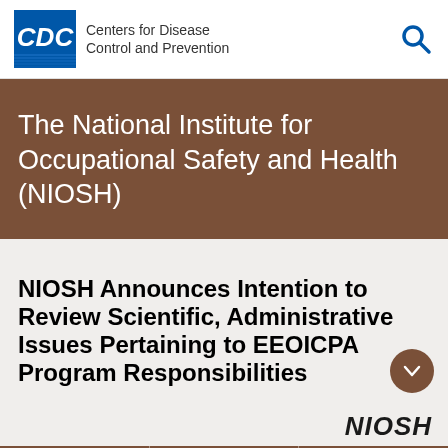Centers for Disease Control and Prevention
The National Institute for Occupational Safety and Health (NIOSH)
NIOSH Announces Intention to Review Scientific, Administrative Issues Pertaining to EEOICPA Program Responsibilities
[Figure (logo): NIOSH logo text in italic bold black font]
Facebook, Twitter, LinkedIn social media icons